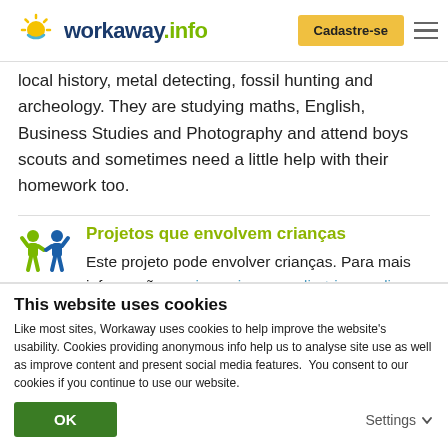workaway.info — Cadastre-se
local history, metal detecting, fossil hunting and archeology. They are studying maths, English, Business Studies and Photography and attend boys scouts and sometimes need a little help with their homework too.
Projetos que envolvem crianças
Este projeto pode envolver crianças. Para mais informações, veja aqui nossas diretrizes e dicas.
This website uses cookies
Like most sites, Workaway uses cookies to help improve the website's usability. Cookies providing anonymous info help us to analyse site use as well as improve content and present social media features.  You consent to our cookies if you continue to use our website.